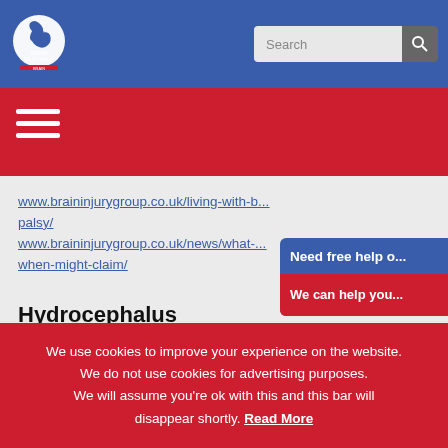Brain Injury Group — Search bar
www.braininjurygroup.co.uk/living-with-b...palsy/
www.braininjurygroup.co.uk/news/what-...when-might-claim/
Need free help o... We can help you...
Hydrocephalus
Hydrocephalus is a build-up of cerebrospinal fluid in the brain. This is a naturally occurring fluid but if something occurs to
We use cookies to improve your experience on the website. We do not use cookies for advertising purposes. We will assume you're ok with this and this bar will disappear shortly. Read More